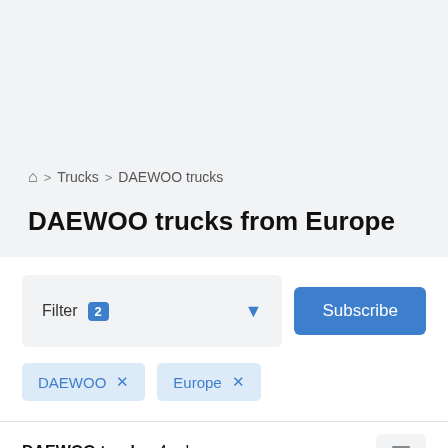🏠 > Trucks > DAEWOO trucks
DAEWOO trucks from Europe
Filter 2 (subscribe button)
DAEWOO ×
Europe ×
DAEWOO trucks: 4 ads